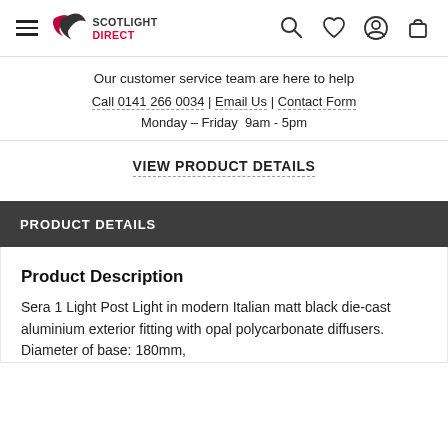Scotlight Direct — navigation header with hamburger menu, logo, search, wishlist, account, and cart icons
Our customer service team are here to help
Call 0141 266 0034 | Email Us | Contact Form
Monday – Friday  9am - 5pm
VIEW PRODUCT DETAILS
PRODUCT DETAILS
Product Description
Sera 1 Light Post Light in modern Italian matt black die-cast aluminium exterior fitting with opal polycarbonate diffusers. Diameter of base: 180mm,